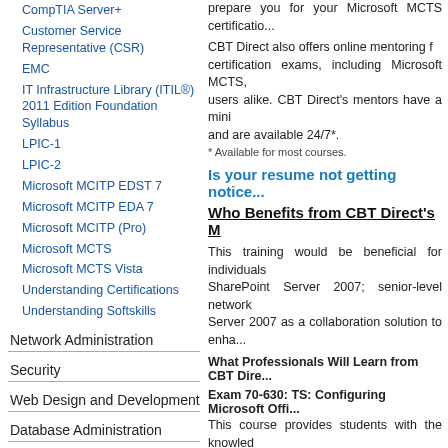CompTIA Server+
Customer Service Representative (CSR)
EMC
IT Infrastructure Library (ITIL®) 2011 Edition Foundation Syllabus
LPIC-1
LPIC-2
Microsoft MCITP EDST 7
Microsoft MCITP EDA 7
Microsoft MCITP (Pro)
Microsoft MCTS
Microsoft MCTS Vista
Understanding Certifications
Understanding Softskills
Network Administration
Security
Web Design and Development
Database Administration
Programming
Project Management
Courses by Vendor
prepare you for your Microsoft MCTS certification...
CBT Direct also offers online mentoring for certification exams, including Microsoft MCTS, users alike. CBT Direct's mentors have a minimum and are available 24/7*.
* Available for most courses.
Is your resume not getting notice...
Who Benefits from CBT Direct's M...
This training would be beneficial for individuals SharePoint Server 2007; senior-level network Server 2007 as a collaboration solution to enha...
What Professionals Will Learn from CBT Dire...
Exam 70-630: TS: Configuring Microsoft Offi... This course provides students with the knowledge configure the content management, configure t the managing of Microsoft Office SharePoint upgrade to Microsoft Office SharePoint Server 2...
The chart below indicates what mentoring se...
| Exam# | Certification |
| --- | --- |